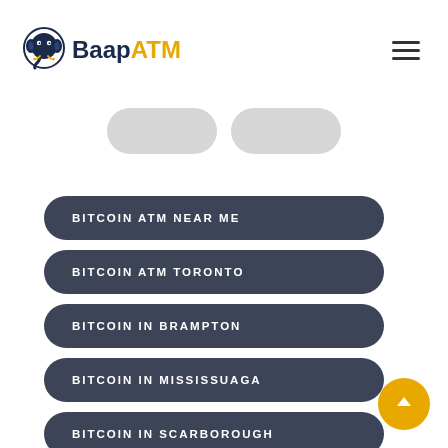[Figure (logo): BaapATM logo with elephant icon. 'Baap' in dark navy, 'ATM' in gold/yellow.]
[Figure (other): Hamburger menu icon (three horizontal lines)]
[Figure (other): Two partially visible rounded button shapes at top of content area]
BITCOIN ATM NEAR ME
BITCOIN ATM TORONTO
BITCOIN IN BRAMPTON
BITCOIN IN MISSISSUAGA
BITCOIN IN SCARBOROUGH
[Figure (other): Yellow circular scroll-to-top button with upward arrow]